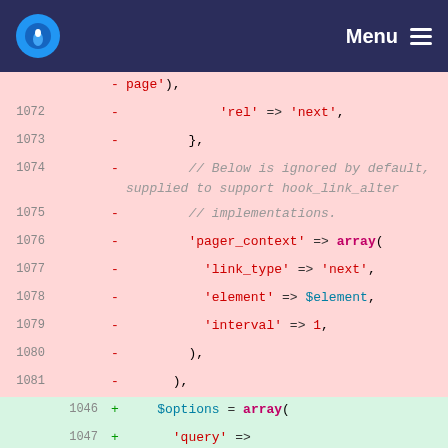Menu
[Figure (screenshot): Code diff view showing removed lines (pink background, lines 1072-1081) and added lines (green background, lines 1046-1049). PHP code showing pager options array construction.]